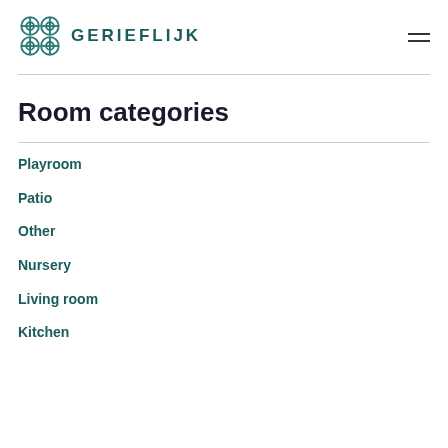GERIEFLIJK
Room categories
Playroom
Patio
Other
Nursery
Living room
Kitchen